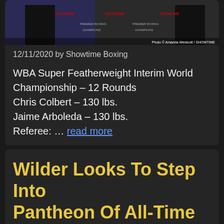[Figure (photo): Boxing press conference photo with SHOWTIME branding banners in background. Photo credit: Amanda Westcott / SHOWTIME]
Photo © Amanda Westcott / SHOWTIME
12/11/2020 by Showtime Boxing
WBA Super Featherweight Interim World Championship – 12 Rounds
Chris Colbert – 130 lbs.
Jaime Arboleda – 130 lbs.
Referee: … read more
Wilder Looks To Step Into Pantheon Of All-Time